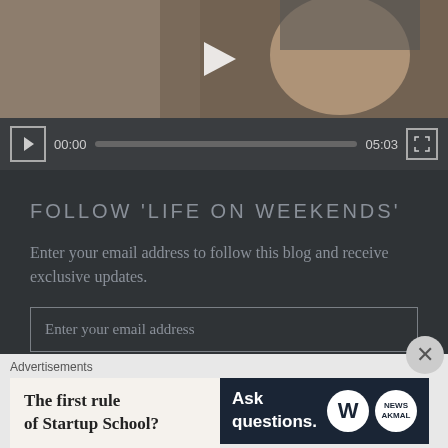[Figure (screenshot): Video player showing a person's face thumbnail with a play button overlay, and video controls bar showing 00:00 / 05:03 with progress bar and fullscreen button]
FOLLOW 'LIFE ON WEEKENDS'
Enter your email address to follow this blog and receive exclusive updates.
Enter your email address
FOLLOW
Advertisements
[Figure (screenshot): Advertisement split in two: left white panel with bold text 'The first rule of Startup School?', right dark navy panel with 'Ask questions.' text and WordPress logo circles]